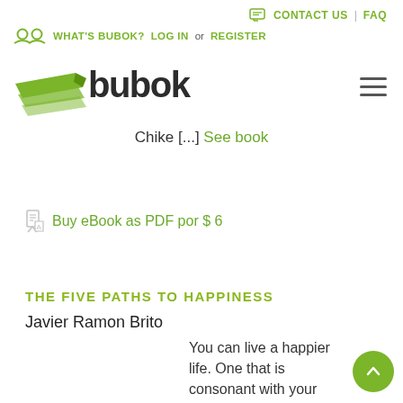CONTACT US | FAQ
WHAT'S BUBOK? LOG IN or REGISTER
[Figure (logo): Bubok logo with stacked green book pages icon and 'bubok' text in dark brown bold font]
Chike [...] See book
Buy eBook as PDF por $ 6
THE FIVE PATHS TO HAPPINESS
Javier Ramon Brito
You can live a happier life. One that is consonant with your own